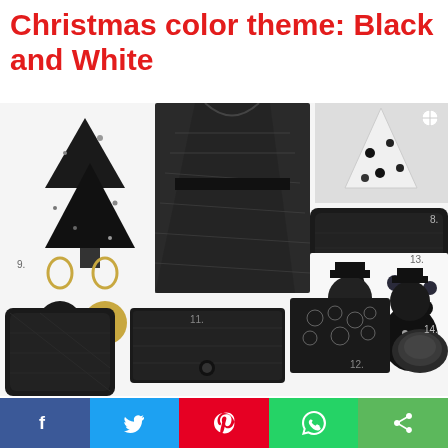Christmas color theme: Black and White
[Figure (photo): Collage of black and white Christmas themed items including a black Christmas tree, a black lace dress, black and white Christmas tree decoration, black clutch bag, black drop earrings, black ornaments, black snowman figurines, black pillow, black wallet, black lace top, and a dark round compact.]
Tue, 12/19/2017 - 22:00 in #All things chic #german label
Black and white is my favorite color scheme (non-color, in fact). It looks incredible stylish and you can avoid sobriety by adding golden or silver small... read more